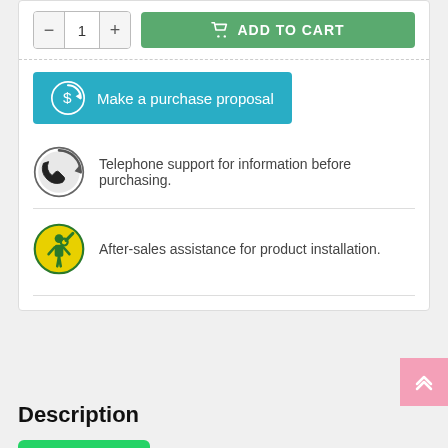[Figure (screenshot): E-commerce product page section showing quantity selector with minus, 1, plus buttons and a green ADD TO CART button]
[Figure (screenshot): Teal button with circular dollar icon labeled 'Make a purchase proposal']
Telephone support for information before purchasing.
After-sales assistance for product installation.
Description
[Figure (screenshot): Green WhatsApp button]
• The templates enclosed to better protect the internal mechanism